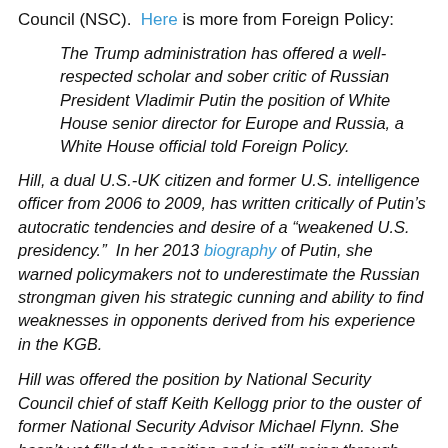Council (NSC).  Here is more from Foreign Policy:
The Trump administration has offered a well-respected scholar and sober critic of Russian President Vladimir Putin the position of White House senior director for Europe and Russia, a White House official told Foreign Policy.
Hill, a dual U.S.-UK citizen and former U.S. intelligence officer from 2006 to 2009, has written critically of Putin’s autocratic tendencies and desire of a “weakened U.S. presidency.”  In her 2013 biography of Putin, she warned policymakers not to underestimate the Russian strongman given his strategic cunning and ability to find weaknesses in opponents derived from his experience in the KGB.
Hill was offered the position by National Security Council chief of staff Keith Kellogg prior to the ouster of former National Security Advisor Michael Flynn. She hasn’t yet filled the position and is still going through procedural steps such